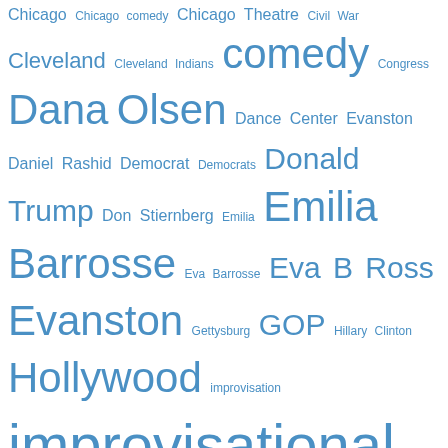[Figure (infographic): Tag cloud with terms related to Chicago comedy, politics, and entertainment. Terms appear in varying font sizes proportional to their frequency/importance, all in blue color. Includes terms like: Chicago, Chicago comedy, Chicago Theatre, Civil War, Cleveland, Cleveland Indians, comedy, Congress, Dana Olsen, Dance Center Evanston, Daniel Rashid, Democrat, Democrats, Donald Trump, Don Stiernberg, Emilia, Emilia Barrosse, Eva Barrosse, Eva B Ross, Evanston, Gettysburg, GOP, Hillary Clinton, Hollywood, improvisation, improvisational comedy, iO West Theatre, jazz, Julia Louis-Dreyfus, Lebron James, Maura Murphy-Barrosse, Mayne Stage, Mitt Romney, Mr. Olsen's Neighborhood, Ms. Maura, NBA, New Year's Eve, Nichols & May, Northwestern, Northwestern University, Obama, Occupy Wall Street, Paul Barrosse, Pearl Harbor, Practical Theatre.]